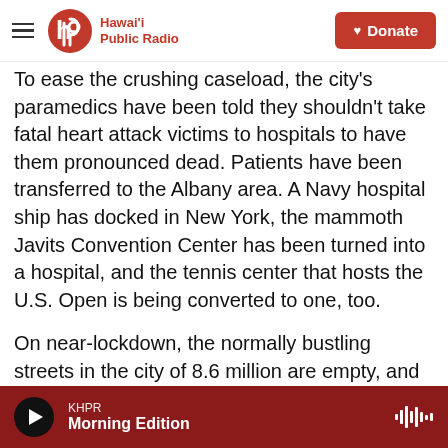Hawai'i Public Radio — Donate
To ease the crushing caseload, the city's paramedics have been told they shouldn't take fatal heart attack victims to hospitals to have them pronounced dead. Patients have been transferred to the Albany area. A Navy hospital ship has docked in New York, the mammoth Javits Convention Center has been turned into a hospital, and the tennis center that hosts the U.S. Open is being converted to one, too.
On near-lockdown, the normally bustling streets in the city of 8.6 million are empty, and sirens are no longer easily ignored as just urban background
KHPR — Morning Edition